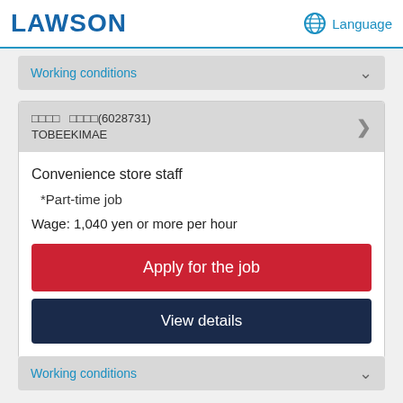LAWSON  Language
Working conditions
□□□□　□□□□(6028731)
TOBEEKIMAE
Convenience store staff
*Part-time job
Wage: 1,040 yen or more per hour
Apply for the job
View details
Working conditions